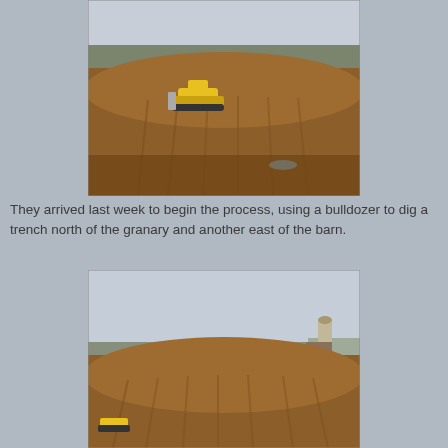[Figure (photo): Aerial view of a construction site with a yellow bulldozer digging a trench in a large dirt field. Trees visible in background, overcast sky.]
They arrived last week to begin the process, using a bulldozer to dig a trench north of the granary and another east of the barn.
[Figure (photo): Wide view of a dirt construction site with a large mound of earth. A silo and barn visible in the right background, trees along the horizon, overcast sky. Yellow bulldozer visible at lower left.]